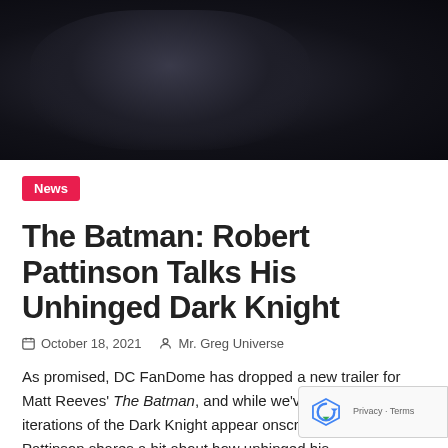[Figure (photo): Dark, moody image of Batman costume/armor, very dark lighting with deep shadows, close-up of black suit/shoulder area]
News
The Batman: Robert Pattinson Talks His Unhinged Dark Knight
October 18, 2021   Mr. Greg Universe
As promised, DC FanDome has dropped a new trailer for Matt Reeves' The Batman, and while we've already seen several iterations of the Dark Knight appear onscreen, Robert Pattinson shares a bit about how unhinged his